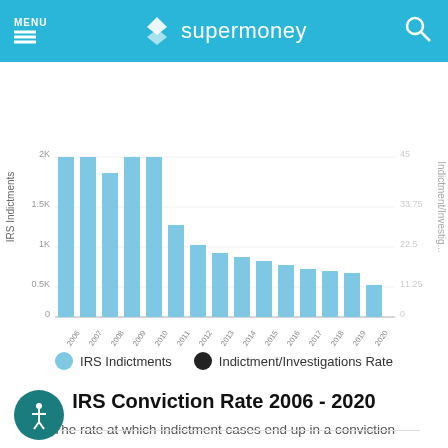MENU | supermoney
[Figure (bar-chart): Bar chart showing IRS Indictments from 2006-2020 with left y-axis up to 2K. Right y-axis shows Indictment/Investigations Rate. Bars are tallest around 2006-2010 (near 2K) and decline to about 1.1K around 2011, then much lower values. A line chart (Indictment/Investigations Rate) overlays on the right axis.]
IRS Indictments   Indictment/Investigations Rate
IRS Conviction Rate 2006 - 2020
The rate at which indictment cases end up in a conviction